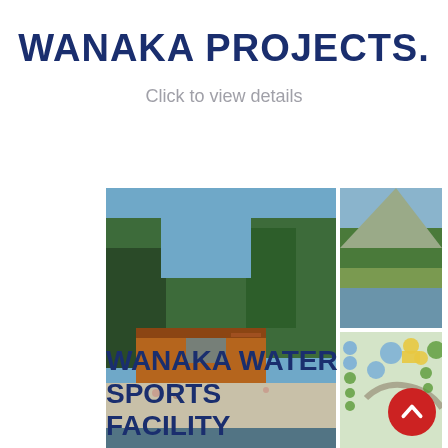WANAKA PROJECTS.
Click to view details
[Figure (photo): Three images: left large photo shows a modern timber building near a lakefront beach with people, trees and blue sky; top right photo shows a lake with tree reflections and a hill; bottom right shows a site plan/map with colored circles on a light green background.]
WANAKA WATER SPORTS FACILITY